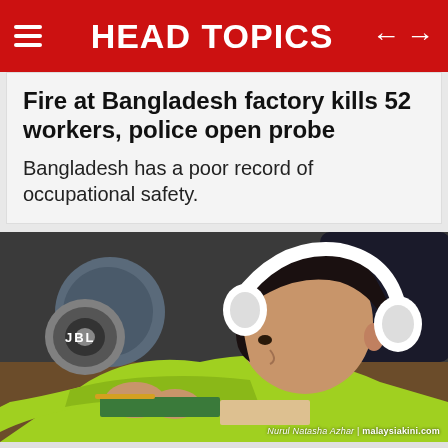HEAD TOPICS
Fire at Bangladesh factory kills 52 workers, police open probe
Bangladesh has a poor record of occupational safety.
[Figure (photo): A young boy wearing white over-ear headphones and a bright yellow-green hoodie, lying on a desk working with electronics. A JBL speaker is visible in the background on the left. Photo credit: Nurul Natasha Azhar | malaysiakini.com]